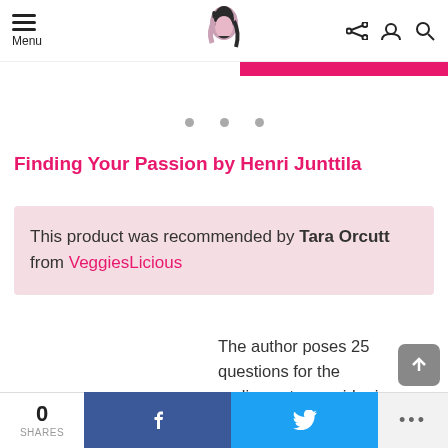Menu | [logo icon] | [share icon] [user icon] [search icon]
[Figure (illustration): Pink bar below header navigation]
[Figure (illustration): Three grey dots indicating a carousel/slider]
Finding Your Passion by Henri Junttila
This product was recommended by Tara Orcutt from VeggiesLicious
The author poses 25 questions for the audience to consider in
0 SHARES | f | [twitter bird] | ...